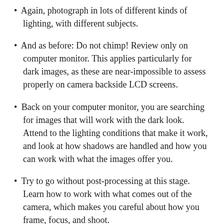Again, photograph in lots of different kinds of lighting, with different subjects.
And as before: Do not chimp! Review only on computer monitor. This applies particularly for dark images, as these are near-impossible to assess properly on camera backside LCD screens.
Back on your computer monitor, you are searching for images that will work with the dark look. Attend to the lighting conditions that make it work, and look at how shadows are handled and how you can work with what the images offer you.
Try to go without post-processing at this stage. Learn how to work with what comes out of the camera, which makes you careful about how you frame, focus, and shoot.
Check the images on your computer monitor screen